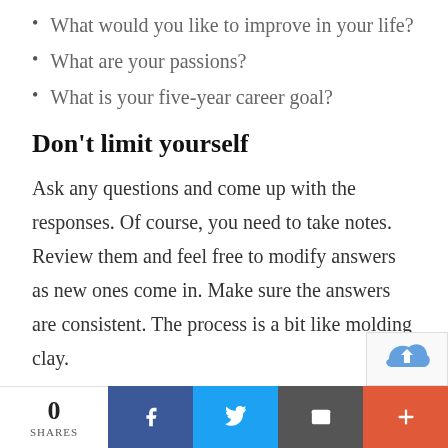What would you like to improve in your life?
What are your passions?
What is your five-year career goal?
Don't limit yourself
Ask any questions and come up with the responses. Of course, you need to take notes. Review them and feel free to modify answers as new ones come in. Make sure the answers are consistent. The process is a bit like molding clay.
Now, it's important to know that you don't have to fit in all these details into your novel. Most like
0 SHARES  [Facebook] [Twitter] [Email] [More]